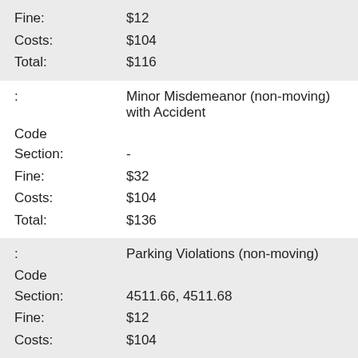| Fine: | $12 |
| Costs: | $104 |
| Total: | $116 |
| : | Minor Misdemeanor (non-moving) with Accident |
| Code |  |
| Section: | - |
| Fine: | $32 |
| Costs: | $104 |
| Total: | $136 |
| : | Parking Violations (non-moving) |
| Code |  |
| Section: | 4511.66, 4511.68 |
| Fine: | $12 |
| Costs: | $104 |